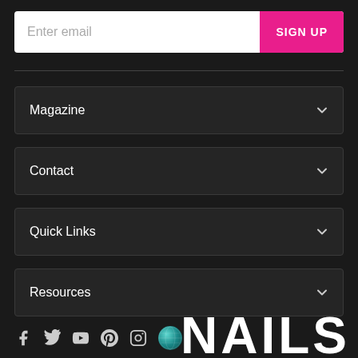Enter email | SIGN UP
Magazine
Contact
Quick Links
Resources
[Figure (infographic): Social media icons row: Facebook, Twitter, YouTube, Pinterest, Instagram, and a globe/web icon]
NAILS